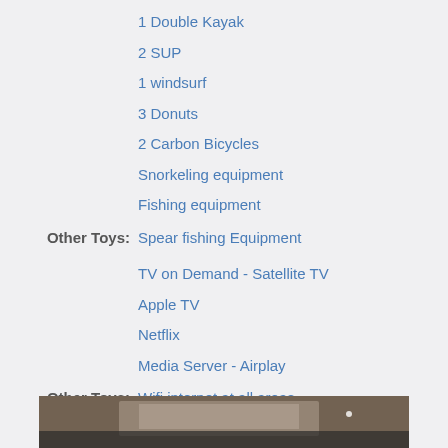1 Double Kayak
2 SUP
1 windsurf
3 Donuts
2 Carbon Bicycles
Snorkeling equipment
Fishing equipment
Other Toys: Spear fishing Equipment
TV on Demand - Satellite TV
Apple TV
Netflix
Media Server - Airplay
Other Toys: Wifi internet at all areas
[Figure (photo): Interior photo of a room, ceiling visible with reflective surface]